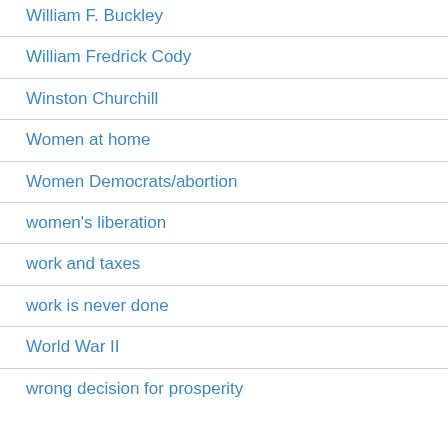William F. Buckley
William Fredrick Cody
Winston Churchill
Women at home
Women Democrats/abortion
women's liberation
work and taxes
work is never done
World War II
wrong decision for prosperity